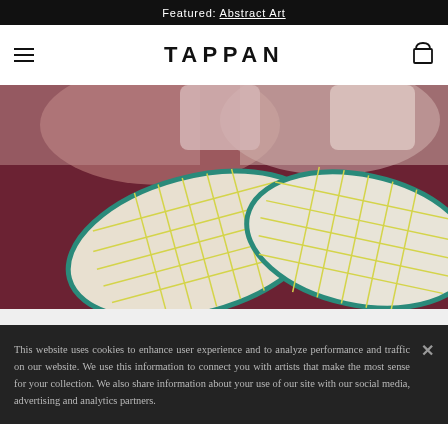Featured: Abstract Art
TAPPAN
[Figure (illustration): Close-up painting of two shoes or slippers with teal/green outlines, yellow grid lines on cream soles, against a dark burgundy/maroon background with pinkish-mauve tones. Abstract art style.]
This website uses cookies to enhance user experience and to analyze performance and traffic on our website. We use this information to connect you with artists that make the most sense for your collection. We also share information about your use of our site with our social media, advertising and analytics partners.